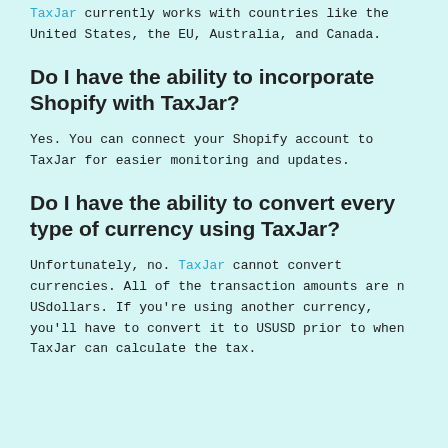TaxJar currently works with countries like the United States, the EU, Australia, and Canada.
Do I have the ability to incorporate Shopify with TaxJar?
Yes. You can connect your Shopify account to TaxJar for easier monitoring and updates.
Do I have the ability to convert every type of currency using TaxJar?
Unfortunately, no. TaxJar cannot convert currencies. All of the transaction amounts are n USdollars. If you're using another currency, you'll have to convert it to USUSD prior to when TaxJar can calculate the tax.